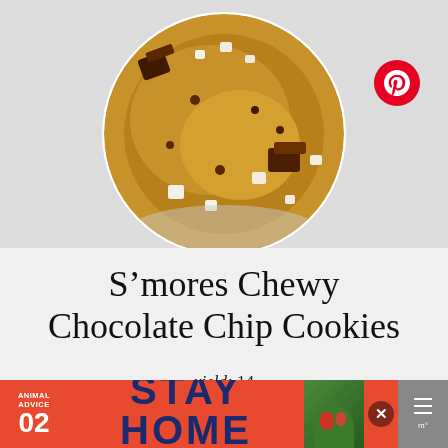[Figure (photo): Top-down photo of a s'mores chocolate chip cookie with marshmallows and chocolate chunks on foil, shown in a circular crop]
S’mores Chewy Chocolate Chip Cookies
yield: 14
This fun twist on your favorite cookie is filled with S’mores goodness. S’mores Chewy Chocolate Chip Cookies make a great summertime dessert that can…
[Figure (screenshot): Animal Advice STAY HOME advertisement banner at the bottom of the page]